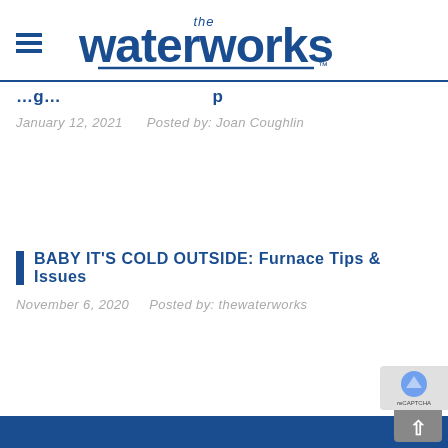the waterworks
[partially visible article title]
January 12, 2021   Posted by: Joan Coughlin
BABY IT'S COLD OUTSIDE: Furnace Tips & Issues
November 6, 2020   Posted by: thewaterworks